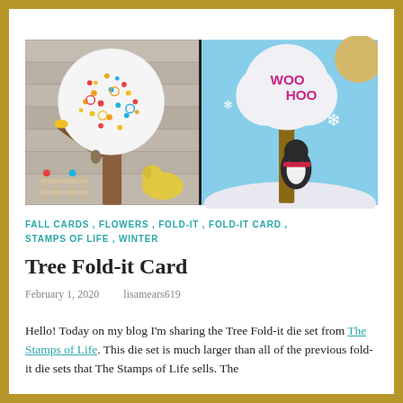[Figure (photo): Two handmade cards side by side. Left card shows a decorative tree with colorful flowers/dots pattern on a wooden plank background, with a bird and a dog near a fence. Right card shows a winter scene with a tree and cloud reading 'WOO HOO' in pink letters, a penguin in a red scarf, and snowflakes on a blue sky background.]
FALL CARDS , FLOWERS , FOLD-IT , FOLD-IT CARD , STAMPS OF LIFE , WINTER
Tree Fold-it Card
February 1, 2020   lisamears619
Hello! Today on my blog I'm sharing the Tree Fold-it die set from The Stamps of Life. This die set is much larger than all of the previous fold-it die sets that The Stamps of Life sells. The